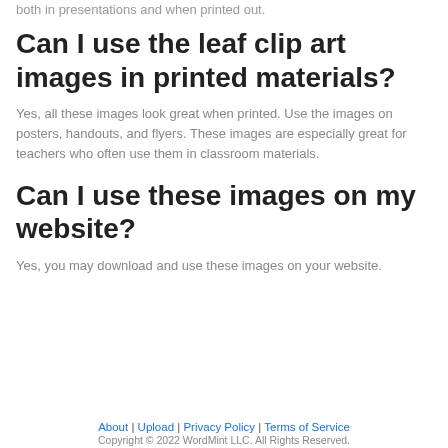both in presentations and when printed out.
Can I use the leaf clip art images in printed materials?
Yes, all these images look great when printed. Use the images on posters, handouts, and flyers. These images are especially great for teachers who often use them in classroom materials.
Can I use these images on my website?
Yes, you may download and use these images on your website.
About | Upload | Privacy Policy | Terms of Service
Copyright © 2022 WordMint LLC. All Rights Reserved.